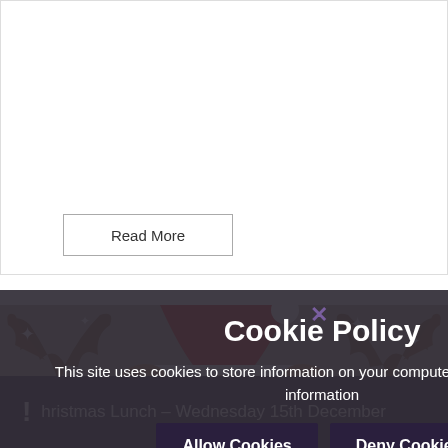Read More
[Figure (illustration): Christmas-themed illustration featuring a reindeer with antlers wearing a red Santa hat, on a grey snowy background with sparkle/star decorations and white polka dots]
Cookie Policy
This site uses cookies to store information on your computer. Click here for more information
Allow Cookies
Deny Cookies
hristmas Lunch – Wednesday 15th December